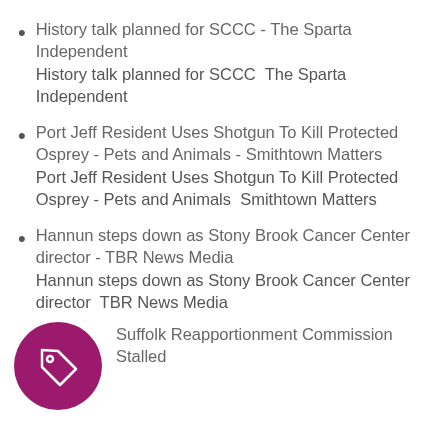History talk planned for SCCC - The Sparta Independent
History talk planned for SCCC  The Sparta Independent
Port Jeff Resident Uses Shotgun To Kill Protected Osprey - Pets and Animals - Smithtown Matters
Port Jeff Resident Uses Shotgun To Kill Protected Osprey - Pets and Animals  Smithtown Matters
Hannun steps down as Stony Brook Cancer Center director - TBR News Media
Hannun steps down as Stony Brook Cancer Center director  TBR News Media
Suffolk Reapportionment Commission Stalled